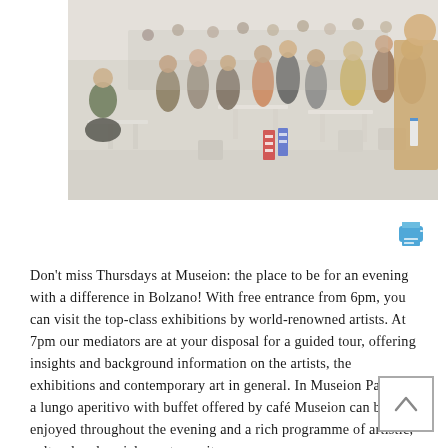[Figure (photo): Indoor event or social gathering at Museion museum in Bolzano. Many people standing and sitting around modern white tables in a bright, open space. Crowd of visitors in casual and winter clothing.]
Don't miss Thursdays at Museion: the place to be for an evening with a difference in Bolzano! With free entrance from 6pm, you can visit the top-class exhibitions by world-renowned artists. At 7pm our mediators are at your disposal for a guided tour, offering insights and background information on the artists, the exhibitions and contemporary art in general. In Museion Passage, a lungo aperitivo with buffet offered by café Museion can be enjoyed throughout the evening and a rich programme of artistic, cultural and social events awaits.